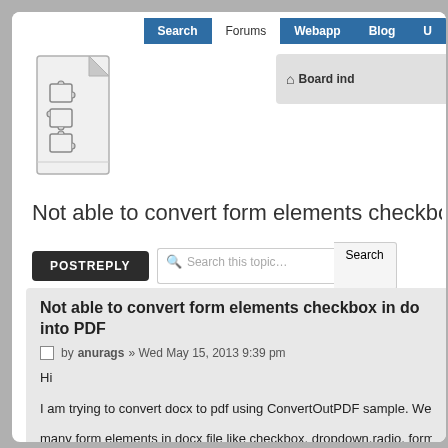Search | Forums | Webapp | Blog | U
[Figure (logo): Puzzle piece / document logo icon for docx4j or similar software]
Board ind...
Not able to convert form elements checkbox in...
POSTREPLY
Search this topic… Search
Not able to convert form elements checkbox in do... into PDF
by anurags » Wed May 15, 2013 9:39 pm
Hi
I am trying to convert docx to pdf using ConvertOutPDF sample. We ha... many form elements in docx file like checkbox, dropdown,radio, form text..etc these are not able to convert into pdf
When it is converted into PDF I get following message in converted pd...
Is docx4j support form element? If yes please suggest how we can con...